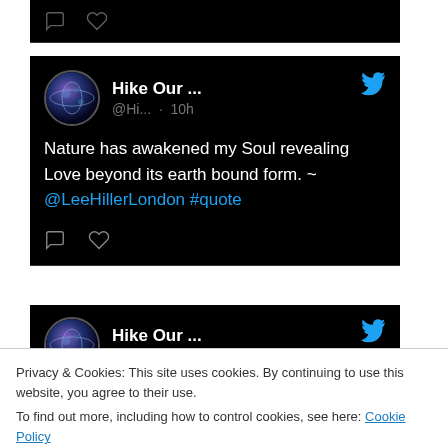[Figure (screenshot): Top partial tweet showing only comment and heart icons on a black background]
Hike Our ... @Hi... · 10h
Nature has awakened my Soul revealing Love beyond its earth bound form. ~ @LeeHillerLondon #quote
Hike Our ... @Hi... · 11h
Privacy & Cookies: This site uses cookies. By continuing to use this website, you agree to their use.
To find out more, including how to control cookies, see here: Cookie Policy
Close and accept